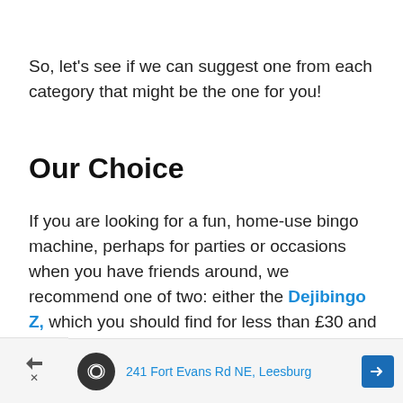So, let's see if we can suggest one from each category that might be the one for you!
Our Choice
If you are looking for a fun, home-use bingo machine, perhaps for parties or occasions when you have friends around, we recommend one of two: either the Dejibingo Z, which you should find for less than £30 and which is a perfectly usable home electronic bingo machine, or the Global Gizmos Traditional Bingo Game Set, a
[Figure (other): Advertisement banner showing an infinity loop icon, address '241 Fort Evans Rd NE, Leesburg', and a blue navigation arrow icon]